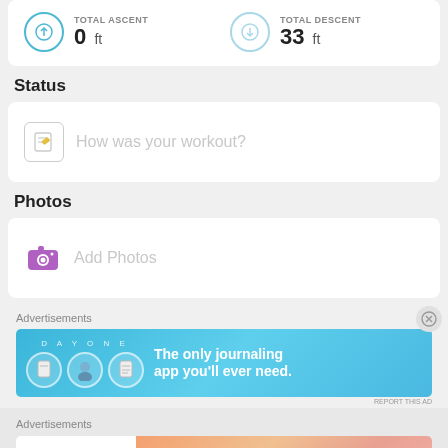TOTAL ASCENT 0 ft | TOTAL DESCENT 33 ft
Status
How was your workout?
Photos
Add Photos
Advertisements
[Figure (screenshot): Day One app advertisement banner: 'The only journaling app you'll ever need.' with three illustrated character icons]
Advertisements
[Figure (screenshot): WordPress VIP advertisement banner with 'Learn more' button]